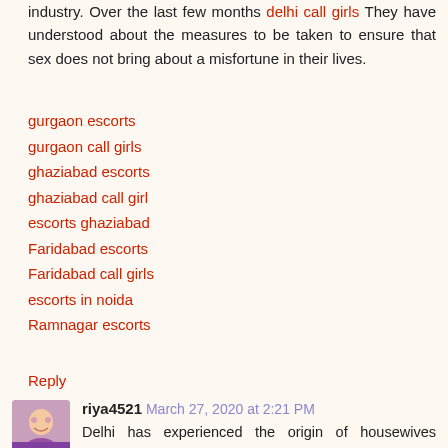industry. Over the last few months delhi call girls They have understood about the measures to be taken to ensure that sex does not bring about a misfortune in their lives.
gurgaon escorts
gurgaon call girls
ghaziabad escorts
ghaziabad call girl
escorts ghaziabad
Faridabad escorts
Faridabad call girls
escorts in noida
Ramnagar escorts
Reply
riya4521  March 27, 2020 at 2:21 PM
Delhi has experienced the origin of housewives offering their services. Housewife Delhi escorts . I am riya here work as a high profile Call girl in delhi . I am here for last 6 years and have ability of fulfilling every sexual desires of every man. I am truly a self-independent and always ready